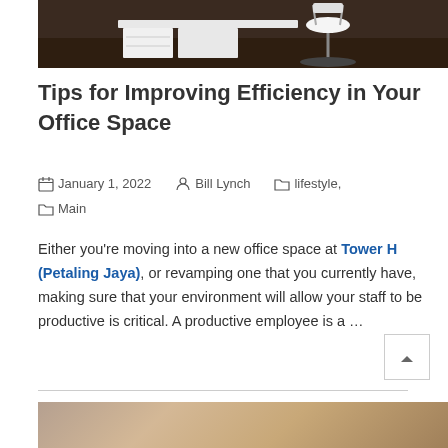[Figure (photo): Top portion of an office space photo showing a white desk, filing cabinet, and office chair on a dark wood floor]
Tips for Improving Efficiency in Your Office Space
January 1, 2022   Bill Lynch   lifestyle, Main
Either you’re moving into a new office space at Tower H (Petaling Jaya), or revamping one that you currently have, making sure that your environment will allow your staff to be productive is critical. A productive employee is a …
[Figure (photo): Bottom portion of another article’s photo, partially visible]